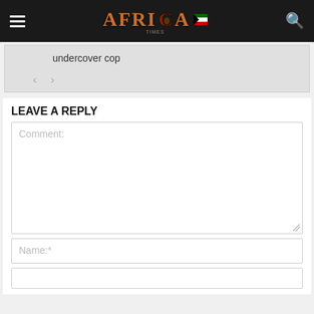AFRICA
undercover cop
LEAVE A REPLY
Comment:
Name:*